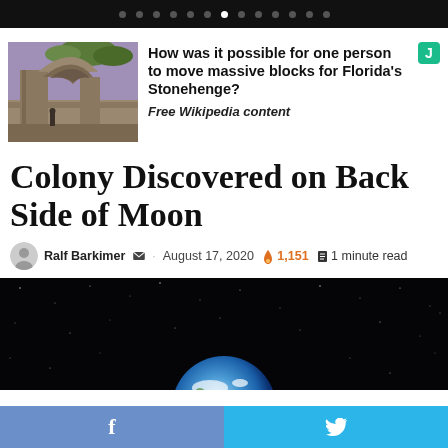Navigation dots / slideshow bar
[Figure (photo): Stone ruins resembling Coral Castle or ancient megalithic structure with a crescent-shaped stone arch]
How was it possible for one person to move massive blocks for Florida's Stonehenge?
Free Wikipedia content
Colony Discovered on Back Side of Moon
Ralf Barkimer · August 17, 2020 🔥 1,151 📖 1 minute read
[Figure (photo): Space photograph showing Earth from behind the Moon against a starry black background]
f    y